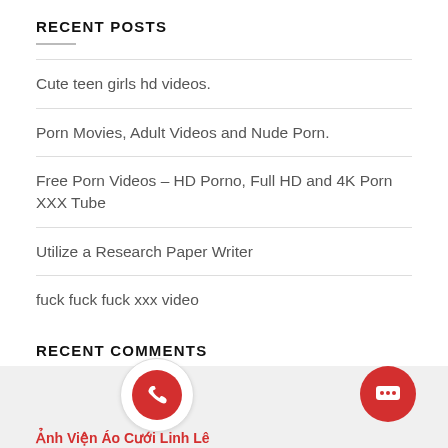RECENT POSTS
Cute teen girls hd videos.
Porn Movies, Adult Videos and Nude Porn.
Free Porn Videos – HD Porno, Full HD and 4K Porn XXX Tube
Utilize a Research Paper Writer
fuck fuck fuck xxx video
RECENT COMMENTS
[Figure (illustration): Phone call button (red circle with phone icon) and chat button (red circle with chat icon) in footer bar, with partial red text 'Ảnh Viện Áo Cưới Linh Lê' at bottom left]